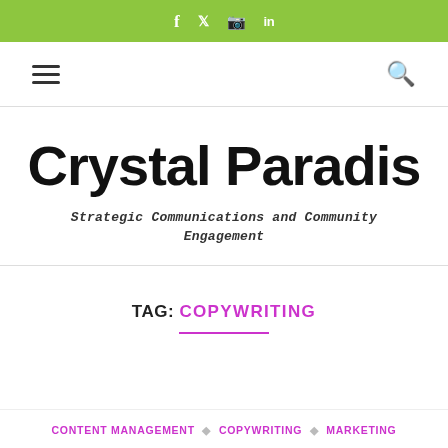f  t  (instagram)  in
[Figure (other): Navigation bar with hamburger menu icon on left and search icon on right]
Crystal Paradis
Strategic Communications and Community Engagement
TAG: COPYWRITING
CONTENT MANAGEMENT  ◇  COPYWRITING  ◇  MARKETING